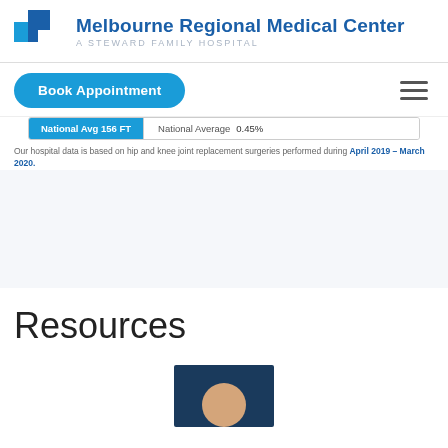[Figure (logo): Melbourne Regional Medical Center logo with Steward brand mark — blue block logo icon on left, hospital name in dark blue, subtitle 'A Steward Family Hospital' in grey]
[Figure (screenshot): Navigation bar with 'Book Appointment' blue rounded button on left and hamburger menu icon on right]
| National Avg 156 FT | National Average  0.45% |
| --- | --- |
Our hospital data is based on hip and knee joint replacement surgeries performed during April 2019 – March 2020.
Resources
[Figure (photo): Partial photo of a person against a dark blue background, only head/shoulders visible at bottom of page]